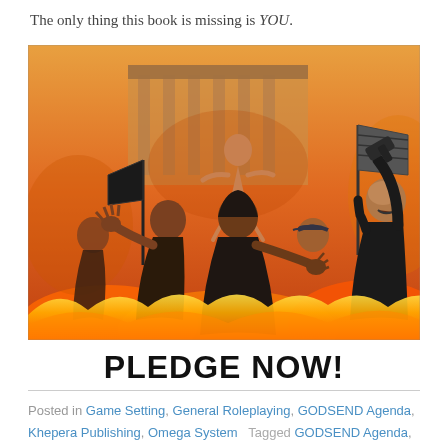The only thing this book is missing is YOU.
[Figure (illustration): Fantasy/action illustration showing a group of figures in dark hoodies amid fire and chaos in front of a classical building. One figure on the right holds a gun and a flag, shouting. Another figure floats or leaps in the background. Smoke and flames fill the scene.]
PLEDGE NOW!
Posted in Game Setting, General Roleplaying, GODSEND Agenda, Khepera Publishing, Omega System   Tagged GODSEND Agenda, mythology, Omega System, Pantheons, Roleplaying game, Setting